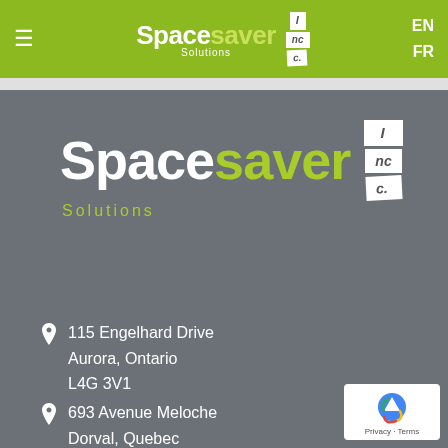Spacesaver Solutions Inc. — EN / FR navigation header
[Figure (logo): Spacesaver Solutions Inc. logo with stacked Inc blocks, large version on grey background]
115 Engelhard Drive
Aurora, Ontario
L4G 3V1
693 Avenue Meloche
Dorval, Quebec
H9P 2S4